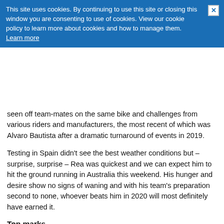This site uses cookies. By continuing to use this site or closing this window you are consenting to use of cookies. View our cookie policy to learn more about cookies and how to manage them. Learn more
seen off team-mates on the same bike and challenges from various riders and manufacturers, the most recent of which was Alvaro Bautista after a dramatic turnaround of events in 2019.
Testing in Spain didn't see the best weather conditions but – surprise, surprise – Rea was quickest and we can expect him to hit the ground running in Australia this weekend. His hunger and desire show no signs of waning and with his team's preparation second to none, whoever beats him in 2020 will most definitely have earned it.
Top marks
With Honda still not fully up and running (see below), the Pata Yamaha duo of Toprak Razgatlioglu and Michael van der Mark should, along with